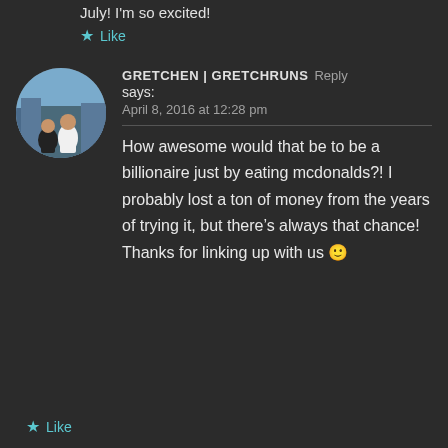July! I'm so excited!
★ Like
GRETCHEN | GRETCHRUNS Reply says:
April 8, 2016 at 12:28 pm
How awesome would that be to be a billionaire just by eating mcdonalds?! I probably lost a ton of money from the years of trying it, but there's always that chance! Thanks for linking up with us 🙂
★ Like